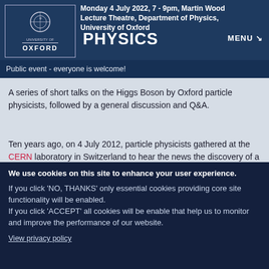Monday 4 July 2022, 7 - 9pm, Martin Wood Lecture Theatre, Department of Physics, University of Oxford
PHYSICS
MENU ↘
Public event - everyone is welcome!
A series of short talks on the Higgs Boson by Oxford particle physicists, followed by a general discussion and Q&A.
Ten years ago, on 4 July 2012, particle physicists gathered at the CERN laboratory in Switzerland to hear the news the discovery of a new particle, soon confirmed to be the Higgs Boson. On the anniversary date, join members of Oxford University Department of Physics to celebrate this discovery and a decade of
We use cookies on this site to enhance your user experience.
If you click 'NO, THANKS' only essential cookies providing core site functionality will be enabled.
If you click 'ACCEPT' all cookies will be enable that help us to monitor and improve the performance of our website.
View privacy policy